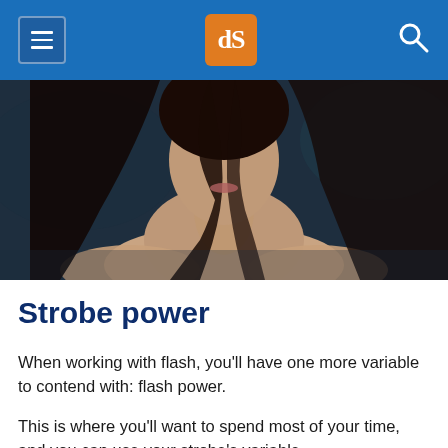dPS (digital Photography School)
[Figure (photo): Portrait photo of a woman with long dark hair, bare shoulders, dark blurred background]
Strobe power
When working with flash, you'll have one more variable to contend with: flash power.
This is where you'll want to spend most of your time, and you can use your strobe's variable